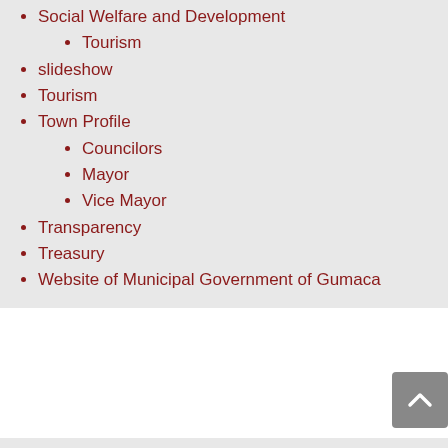Social Welfare and Development
Tourism
slideshow
Tourism
Town Profile
Councilors
Mayor
Vice Mayor
Transparency
Treasury
Website of Municipal Government of Gumaca